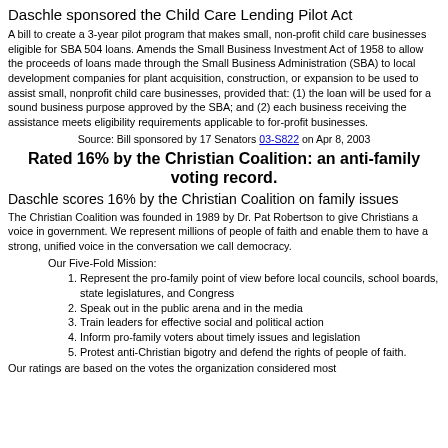Daschle sponsored the Child Care Lending Pilot Act
A bill to create a 3-year pilot program that makes small, non-profit child care businesses eligible for SBA 504 loans. Amends the Small Business Investment Act of 1958 to allow the proceeds of loans made through the Small Business Administration (SBA) to local development companies for plant acquisition, construction, or expansion to be used to assist small, nonprofit child care businesses, provided that: (1) the loan will be used for a sound business purpose approved by the SBA; and (2) each business receiving the assistance meets eligibility requirements applicable to for-profit businesses.
Source: Bill sponsored by 17 Senators 03-S822 on Apr 8, 2003
Rated 16% by the Christian Coalition: an anti-family voting record.
Daschle scores 16% by the Christian Coalition on family issues
The Christian Coalition was founded in 1989 by Dr. Pat Robertson to give Christians a voice in government. We represent millions of people of faith and enable them to have a strong, unified voice in the conversation we call democracy.
Our Five-Fold Mission:
Represent the pro-family point of view before local councils, school boards, state legislatures, and Congress
Speak out in the public arena and in the media
Train leaders for effective social and political action
Inform pro-family voters about timely issues and legislation
Protest anti-Christian bigotry and defend the rights of people of faith.
Our ratings are based on the votes the organization considered most important, and weighted as the organization chooses.